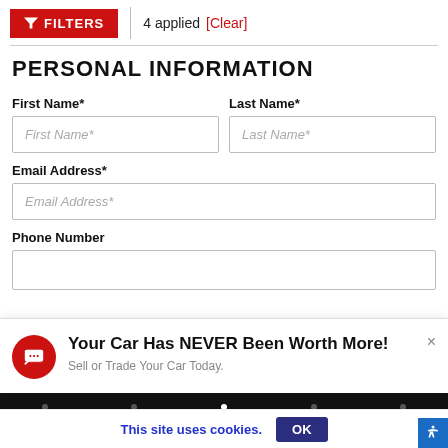FILTERS | 4 applied [Clear]
PERSONAL INFORMATION
First Name*
Last Name*
Email Address*
Phone Number
[Figure (screenshot): Popup notification: 'Your Car Has NEVER Been Worth More! Sell or Trade Your Car Today.']
This site uses cookies.